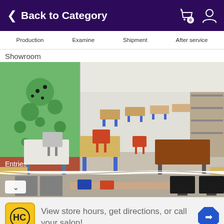Back to Category
Production
Examine
Shipment
After service
Showroom
[Figure (photo): Showroom image of a school furniture display room with rows of student desks with yellow tops and blue frames, chairs, and shelving units. A green nature wall mural is visible on the left side. A second partial image below shows an office/computer lab setting.]
View store hours, get directions, or call your salon!